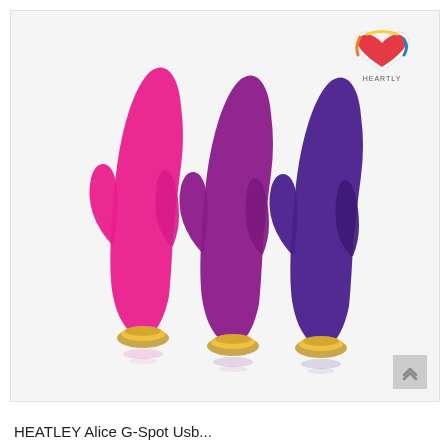[Figure (photo): Three rabbit-style vibrators in pink, purple, and dark purple/violet colors, each with gold metallic charging ring at the base, displayed standing upright side by side against a white background. Brand logo (heart with colorful outline) in top-right corner. Small scroll/up arrow button in bottom-right corner.]
HEATLEY Alice G-Spot Usb...